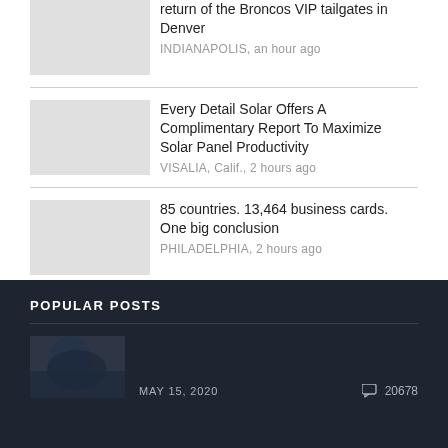return of the Broncos VIP tailgates in Denver
INDIANAPOLIS, an hour ago
Every Detail Solar Offers A Complimentary Report To Maximize Solar Panel Productivity
VISALIA, Calif., 2 hours ago
85 countries. 13,464 business cards. One big conclusion
PHILADELPHIA, 2 hours ago
More news
POPULAR POSTS
MAY 15, 2020
20678